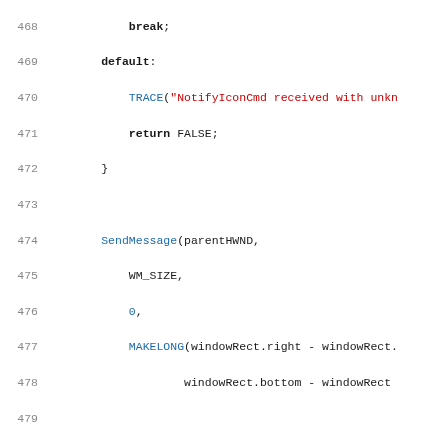[Figure (screenshot): Source code viewer showing C++ code lines 468–499 with syntax highlighting: keywords in bold dark blue, function names in blue, string literals in red, numeric literals in blue, comments in italic gray, line numbers in gray.]